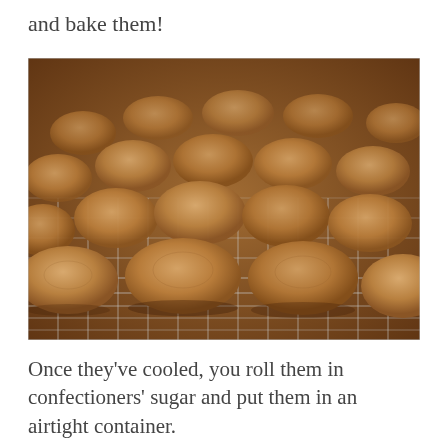and bake them!
[Figure (photo): Rows of round, golden-brown cookies cooling on a wire rack, photographed from a low angle showing the texture and depth of the cookies.]
Once they've cooled, you roll them in confectioners' sugar and put them in an airtight container.